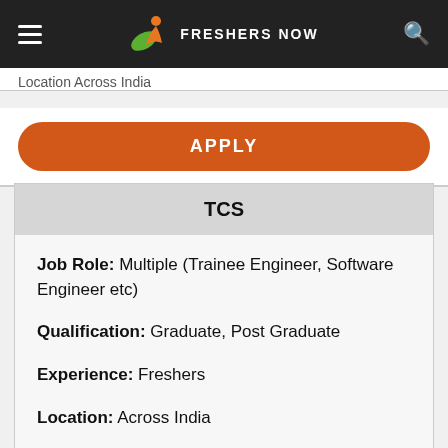FRESHERS NOW
Location Across India
APPLY
TCS
Job Role: Multiple (Trainee Engineer, Software Engineer etc)
Qualification: Graduate, Post Graduate
Experience: Freshers
Location: Across India